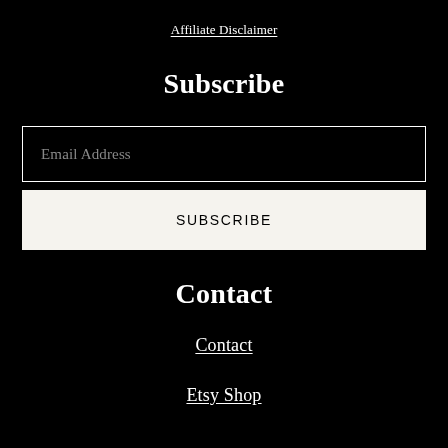Affiliate Disclaimer
Subscribe
Email Address
SUBSCRIBE
Contact
Contact
Etsy Shop